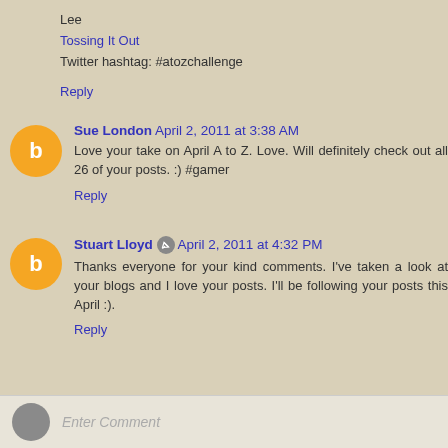Lee
Tossing It Out
Twitter hashtag: #atozchallenge
Reply
Sue London  April 2, 2011 at 3:38 AM
Love your take on April A to Z. Love. Will definitely check out all 26 of your posts. :) #gamer
Reply
Stuart Lloyd  April 2, 2011 at 4:32 PM
Thanks everyone for your kind comments. I've taken a look at your blogs and I love your posts. I'll be following your posts this April :).
Reply
Enter Comment